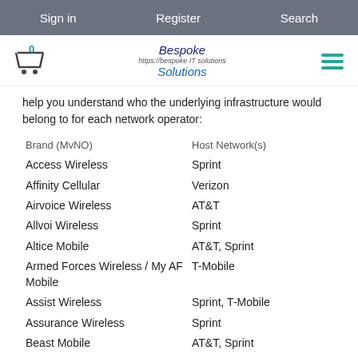Sign in   Register   Search
[Figure (logo): Shopping cart icon with count 0, Bespoke IT Solutions logo, hamburger menu icon]
help you understand who the underlying infrastructure would belong to for each network operator:
| Brand (MvNO) | Host Network(s) |
| --- | --- |
| Access Wireless | Sprint |
| Affinity Cellular | Verizon |
| Airvoice Wireless | AT&T |
| Allvoi Wireless | Sprint |
| Altice Mobile | AT&T, Sprint |
| Armed Forces Wireless / My AF Mobile | T-Mobile |
| Assist Wireless | Sprint, T-Mobile |
| Assurance Wireless | Sprint |
| Beast Mobile | AT&T, Sprint |
| Best Cellular | AT&T, Sprint, T-Mobile, Verizon |
| Black Wireless | AT&T |